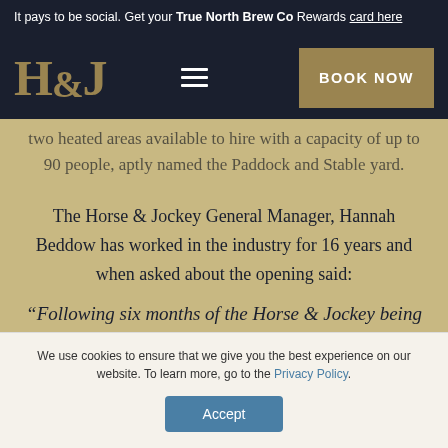It pays to be social. Get your True North Brew Co Rewards card here
[Figure (logo): H&J logo in gold serif font on dark navy background, with hamburger menu icon and BOOK NOW gold button]
two heated areas available to hire with a capacity of up to 90 people, aptly named the Paddock and Stable yard.
The Horse & Jockey General Manager, Hannah Beddow has worked in the industry for 16 years and when asked about the opening said:
“Following six months of the Horse & Jockey being
We use cookies to ensure that we give you the best experience on our website. To learn more, go to the Privacy Policy.